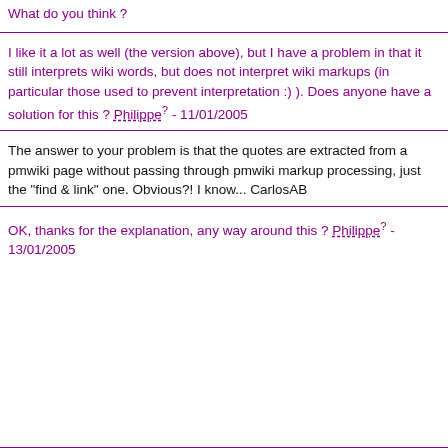What do you think ?
I like it a lot as well (the version above), but I have a problem in that it still interprets wiki words, but does not interpret wiki markups (in particular those used to prevent interpretation :) ). Does anyone have a solution for this ? Philippe? - 11/01/2005
The answer to your problem is that the quotes are extracted from a pmwiki page without passing through pmwiki markup processing, just the "find & link" one. Obvious?! I know... CarlosAB
OK, thanks for the explanation, any way around this ? Philippe? - 13/01/2005